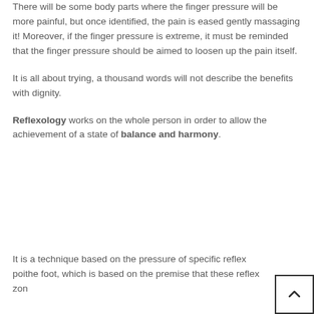There will be some body parts where the finger pressure will be more painful, but once identified, the pain is eased gently massaging it! Moreover, if the finger pressure is extreme, it must be reminded that the finger pressure should be aimed to loosen up the pain itself.
It is all about trying, a thousand words will not describe the benefits with dignity.
Reflexology works on the whole person in order to allow the achievement of a state of balance and harmony.
It is a technique based on the pressure of specific reflex points on the foot, which is based on the premise that these reflex zones...